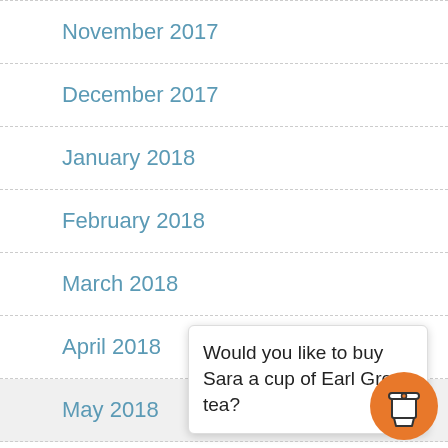November 2017
December 2017
January 2018
February 2018
March 2018
April 2018
May 2018
June 2018
July 2018
August 2018
Would you like to buy Sara a cup of Earl Grey tea?
[Figure (illustration): Orange circular button with a coffee cup icon]